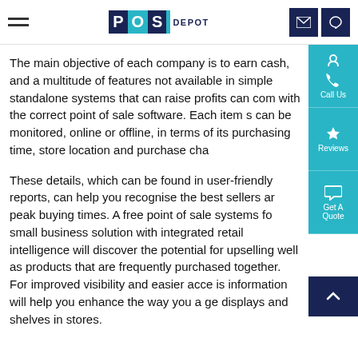POS DEPOT
The main objective of each company is to earn cash, and a multitude of features not available in simple standalone systems that can raise profits can come with the correct point of sale software. Each item sold can be monitored, online or offline, in terms of its purchasing time, store location and purchase channels.
These details, which can be found in user-friendly reports, can help you recognise the best sellers and peak buying times. A free point of sale systems for small business solution with integrated retail intelligence will discover the potential for upselling as well as products that are frequently purchased together. For improved visibility and easier access, this information will help you enhance the way you arrange displays and shelves in stores.